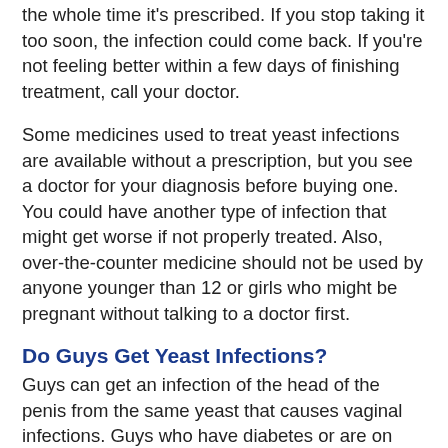the whole time it's prescribed. If you stop taking it too soon, the infection could come back. If you're not feeling better within a few days of finishing treatment, call your doctor.
Some medicines used to treat yeast infections are available without a prescription, but you see a doctor for your diagnosis before buying one. You could have another type of infection that might get worse if not properly treated. Also, over-the-counter medicine should not be used by anyone younger than 12 or girls who might be pregnant without talking to a doctor first.
Do Guys Get Yeast Infections?
Guys can get an infection of the head of the penis from the same yeast that causes vaginal infections. Guys who have diabetes or are on antibiotics for a long time are more likely to get this infection. A guy with a yeast